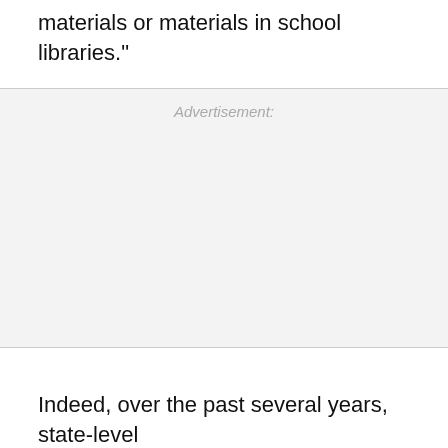materials or materials in school libraries."
Advertisement:
Indeed, over the past several years, state-level